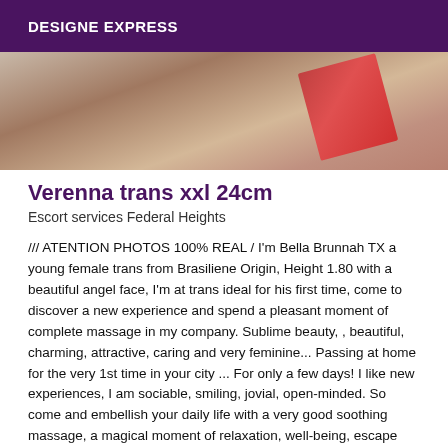DESIGNE EXPRESS
[Figure (photo): Partial photo showing a person, cropped view with warm brown tones and a red object visible]
Verenna trans xxl 24cm
Escort services Federal Heights
/// ATENTION PHOTOS 100% REAL / I'm Bella Brunnah TX a young female trans from Brasiliene Origin, Height 1.80 with a beautiful angel face, I'm at trans ideal for his first time, come to discover a new experience and spend a pleasant moment of complete massage in my company. Sublime beauty, , beautiful, charming, attractive, caring and very feminine... Passing at home for the very 1st time in your city ... For only a few days! I like new experiences, I am sociable, smiling, jovial, open-minded. So come and embellish your daily life with a very good soothing massage, a magical moment of relaxation, well-being, escape and relaxation in my